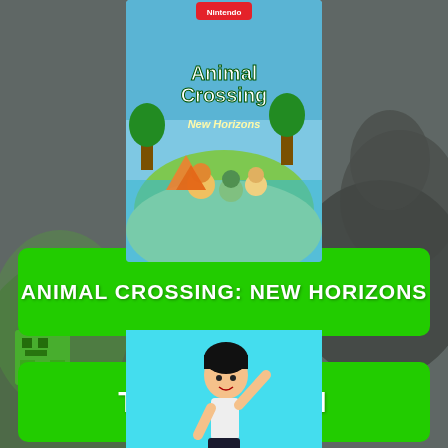[Figure (illustration): Background composite: dark armored figure on right, green pixel/creeper figure on left, misty/smoky gray background overall]
[Figure (illustration): Animal Crossing: New Horizons Nintendo Switch game box cover art showing colorful island scene with animal characters]
ANIMAL CROSSING: NEW HORIZONS
[Figure (illustration): Cartoon character with black hair, white shirt, black pants, arm raised, on cyan/light blue background - Tower Run game character]
TOWER RUN